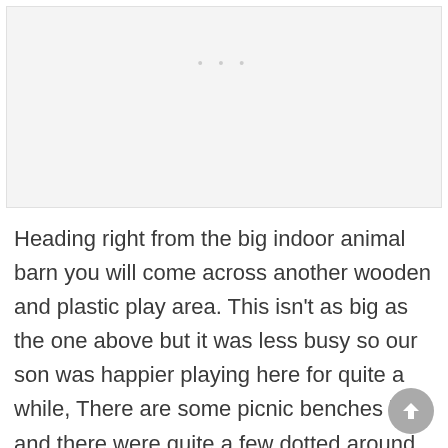[Figure (photo): Placeholder image area with light grey background and three small dots at top center]
Heading right from the big indoor animal barn you will come across another wooden and plastic play area. This isn't as big as the one above but it was less busy so our son was happier playing here for quite a while, There are some picnic benches here and there were quite a few dotted around the park.